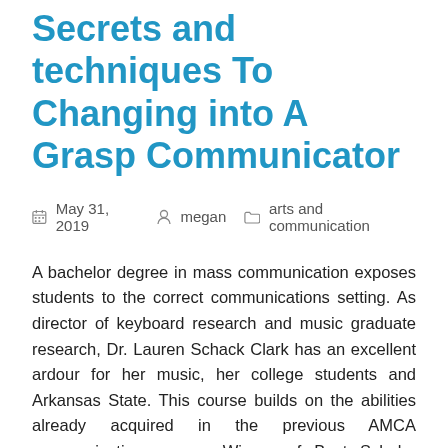Secrets and techniques To Changing into A Grasp Communicator
May 31, 2019   megan   arts and communication
A bachelor degree in mass communication exposes students to the correct communications setting. As director of keyboard research and music graduate research, Dr. Lauren Schack Clark has an excellent ardour for her music, her college students and Arkansas State. This course builds on the abilities already acquired in the previous AMCA communication course. Winner of Best Scholar Media on the NUS Awards 2013, this exciting pupil body has its own newspaper, on-line and TELEVISION presence; as well as a full-time group